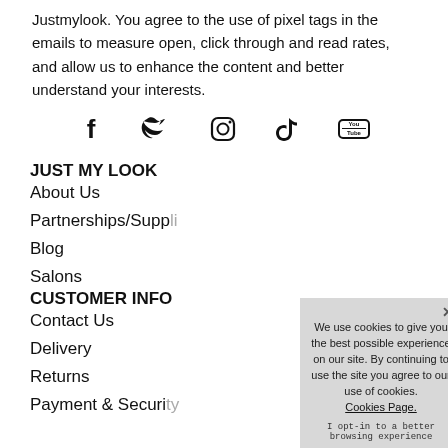Justmylook. You agree to the use of pixel tags in the emails to measure open, click through and read rates, and allow us to enhance the content and better understand your interests.
[Figure (illustration): Social media icons: Facebook, Twitter, Instagram, TikTok, YouTube]
JUST MY LOOK
About Us
Partnerships/Suppliers
Blog
Salons
CUSTOMER INFO
Contact Us
Delivery
Returns
Payment & Security
We use cookies to give you the best possible experience on our site. By continuing to use the site you agree to our use of cookies. Cookies Page.
I opt-in to a better browsing experience
ACCEPT COOKIES